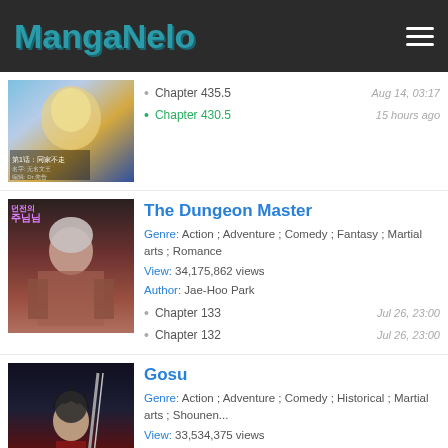MangaNelo
[Figure (illustration): Manga cover thumbnail for first manga (blue/gold fantasy theme)]
Chapter 435.5 — Aug 14, 03:17
Chapter 430.5 — 15 hours ago
[Figure (illustration): The Dungeon Master manga cover - female warrior character with grey hair]
The Dungeon Master
Genre: Action ; Adventure ; Comedy ; Fantasy ; Martial arts ; Romance
View: 34,175,862 views
Author: Jae-Hoo Park
Chapter 133 — Jul 26, 23:00
Chapter 132 — Jul 26, 23:00
[Figure (illustration): Gosu manga cover - male warrior character with black spiky hair in red outfit]
Gosu
Genre: Action ; Adventure ; Comedy ; Historical ; Martial arts ; Shounen...
View: 33,534,375 views
Author: Ryu Ki-Woon;Moon Jung-Hoo
Chapter 339 — 06 15 16